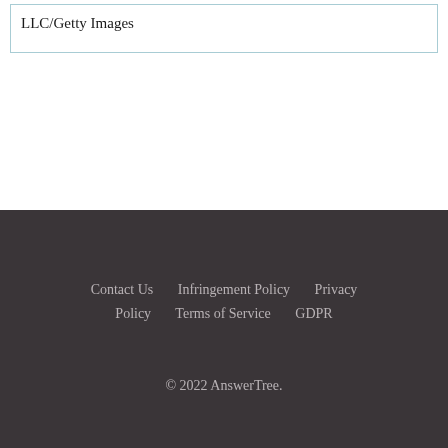LLC/Getty Images
Contact Us  Infringement Policy  Privacy Policy  Terms of Service  GDPR
© 2022 AnswerTree.